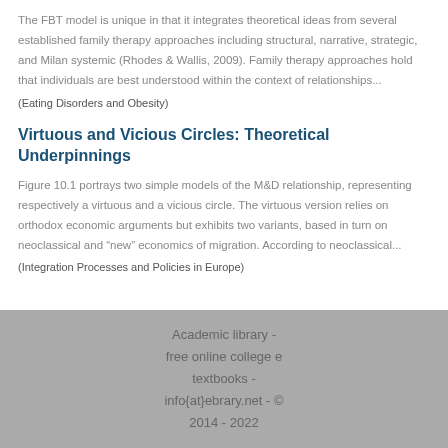The FBT model is unique in that it integrates theoretical ideas from several established family therapy approaches including structural, narrative, strategic, and Milan systemic (Rhodes & Wallis, 2009). Family therapy approaches hold that individuals are best understood within the context of relationships...
(Eating Disorders and Obesity)
Virtuous and Vicious Circles: Theoretical Underpinnings
Figure 10.1 portrays two simple models of the M&D relationship, representing respectively a virtuous and a vicious circle. The virtuous version relies on orthodox economic arguments but exhibits two variants, based in turn on neoclassical and “new” economics of migration. According to neoclassical...
(Integration Processes and Policies in Europe)
Academic library - free online college e textbooks - info{at}ebrary.net - © 2014 - 2022